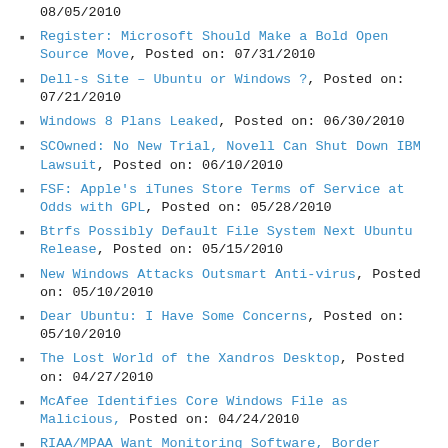08/05/2010
Register: Microsoft Should Make a Bold Open Source Move, Posted on: 07/31/2010
Dell-s Site – Ubuntu or Windows ?, Posted on: 07/21/2010
Windows 8 Plans Leaked, Posted on: 06/30/2010
SCOwned: No New Trial, Novell Can Shut Down IBM Lawsuit, Posted on: 06/10/2010
FSF: Apple's iTunes Store Terms of Service at Odds with GPL, Posted on: 05/28/2010
Btrfs Possibly Default File System Next Ubuntu Release, Posted on: 05/15/2010
New Windows Attacks Outsmart Anti-virus, Posted on: 05/10/2010
Dear Ubuntu: I Have Some Concerns, Posted on: 05/10/2010
The Lost World of the Xandros Desktop, Posted on: 04/27/2010
McAfee Identifies Core Windows File as Malicious, Posted on: 04/24/2010
RIAA/MPAA Want Monitoring Software, Border Checks, Posted on: 04/16/2010